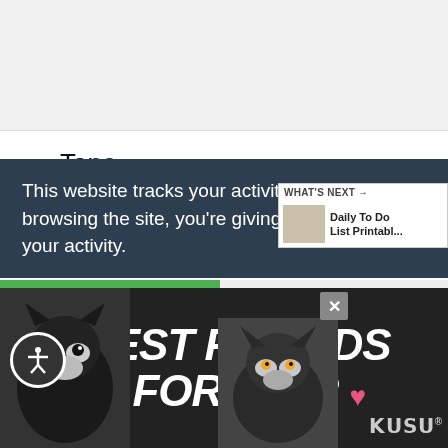[Figure (photo): Top grey image placeholder area (partially visible webpage screenshot)]
Tape
Word Processing Program
Printer
Make your personalized sticky notes work
[Figure (infographic): Teal heart button with 1K count and share button on right side social bar]
This website tracks your activities. If you continue browsing the site, you're giving us consent to track your activity.
[Figure (infographic): What's Next panel: Daily To Do List Printabl...]
[Figure (photo): Ad banner: Best Friends Forever with cats, close button, accessibility button, Meow logo]